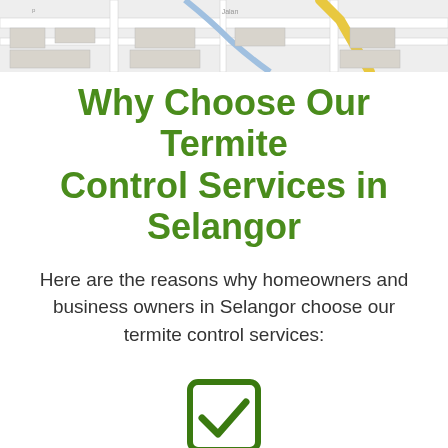[Figure (map): Partial map screenshot showing street layout, used as decorative header background]
Why Choose Our Termite Control Services in Selangor
Here are the reasons why homeowners and business owners in Selangor choose our termite control services:
[Figure (illustration): A green checkbox icon with a checkmark inside a rounded square, centered on the page]
Customized Anti Termite Treatment